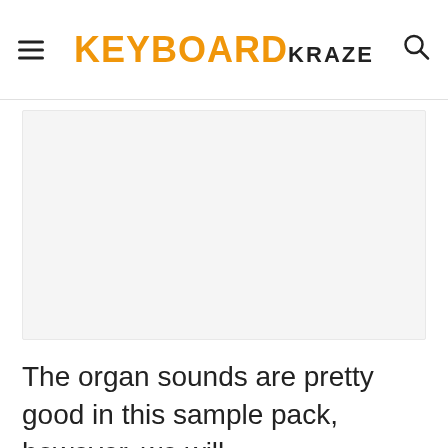KEYBOARD KRAZE
[Figure (photo): A light gray rectangular placeholder image region]
The organ sounds are pretty good in this sample pack, however, we will